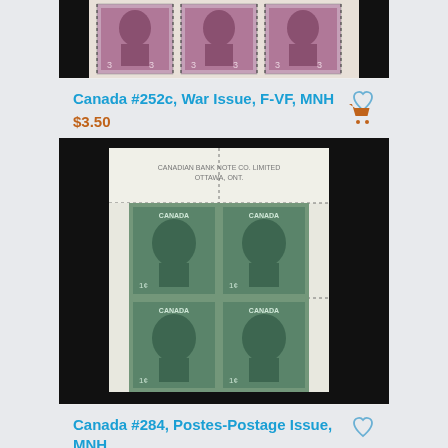[Figure (photo): Three purple Canada 3-cent war issue stamps in a strip on black background (partially visible at top of page)]
Canada #252c, War Issue, F-VF, MNH
$3.50
[Figure (photo): Block of four green Canada 1-cent Postes-Postage stamps with corner selvedge reading Canadian Bank Note Co. Limited Ottawa on black background]
Canada #284, Postes-Postage Issue, MNH
$1.00